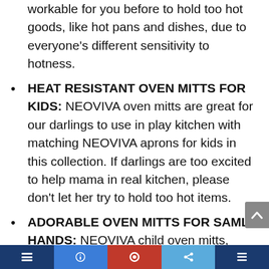workable for you before to hold too hot goods, like hot pans and dishes, due to everyone's different sensitivity to hotness.
HEAT RESISTANT OVEN MITTS FOR KIDS: NEOVIVA oven mitts are great for our darlings to use in play kitchen with matching NEOVIVA aprons for kids in this collection. If darlings are too excited to help mama in real kitchen, please don't let her try to hold too hot items.
ADORABLE OVEN MITTS FOR SAMLL HANDS: NEOVIVA child oven mitts, measures in 9"(L) x 4"(W), is an ideal size for kids under 12 and girls with small hands. Decorated with satin ribbon-knot, makes this kitchen oven mitts even more adorable for girls.
FUNCTIONAL OVEN MITTS WITH LOOP: Each